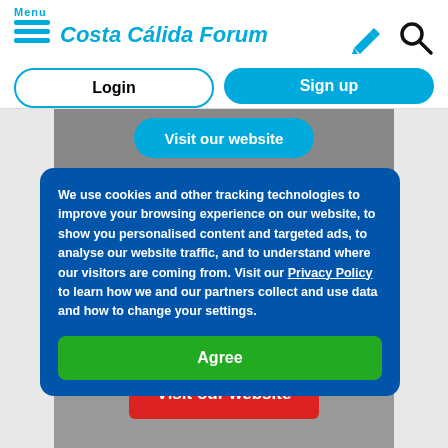Menu | Costa Cálida Forum
Login
Sign up
[Figure (screenshot): Visit our website button (blue) over a background image]
We use cookies and other tracking technologies to improve your browsing experience on our website, to show you personalised content and targeted ads, to analyse our website traffic, and to understand where our visitors are coming from. Visit our Privacy Policy to learn how we and our partners collect and use data and how to change your settings.
Agree
[Figure (screenshot): Partial text 'entertaining method to learn to under' and Visit our website button (red) over a background image]
[Figure (screenshot): Blue banner strip with Est. 1992 text]